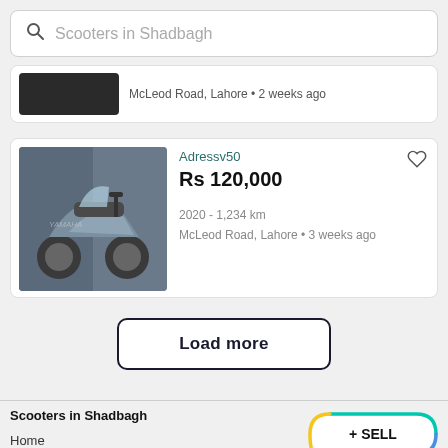Scooters in Shadbagh
McLeod Road, Lahore • 2 weeks ago
Adressv50
Rs 120,000
2020 - 1,234 km
McLeod Road, Lahore • 3 weeks ago
Load more
Scooters in Shadbagh
Home
Bikes
+ SELL